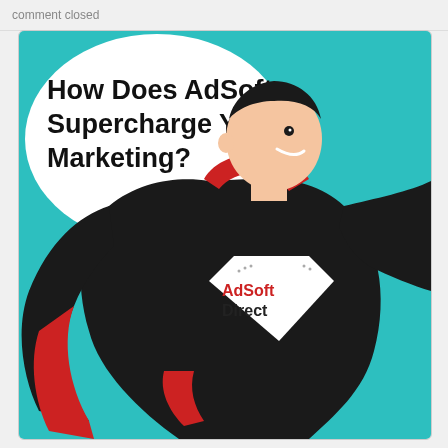comment closed
[Figure (illustration): Infographic showing a cartoon superhero in a black suit with red cape and collar, striking a heroic pose. A white speech bubble in the top-left reads 'How Does AdSoft Supercharge Your Marketing?' The hero has a white shield on his chest with 'AdSoft Direct' written in red and black. The background is teal/turquoise.]